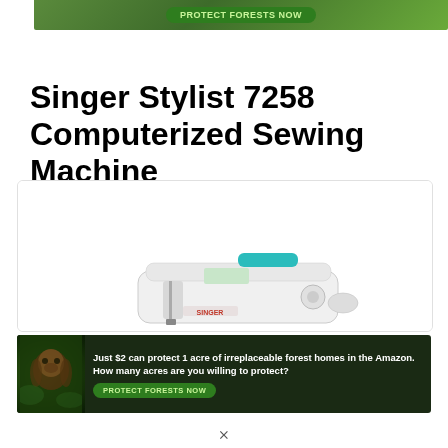[Figure (illustration): Green forest banner ad with 'PROTECT FORESTS NOW' button in teal/green pill shape]
Singer Stylist 7258 Computerized Sewing Machine
[Figure (photo): White Singer Stylist 7258 sewing machine with teal accent, shown in a white card with rounded border]
[Figure (illustration): Dark green banner ad with orangutan image, text: Just $2 can protect 1 acre of irreplaceable forest homes in the Amazon. How many acres are you willing to protect? PROTECT FORESTS NOW button]